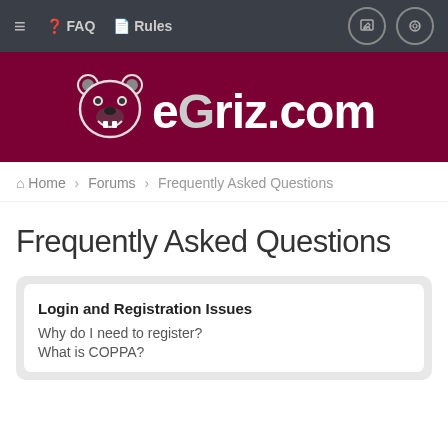≡  FAQ  Rules
[Figure (logo): eGriz.com logo with bear mascot on dark maroon background]
Home › Forums › Frequently Asked Questions
Frequently Asked Questions
Login and Registration Issues
Why do I need to register?
What is COPPA?